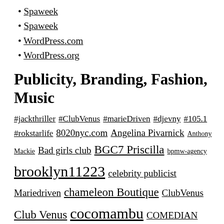Spaweek
Spaweek
WordPress.com
WordPress.org
Publicity, Branding, Fashion, Music
#jackthriller #ClubVenus #marieDriven #djevny #105.1 #rokstarlife 8020nyc.com Angelina Pivarnick Anthony Mackie Bad girls club BGC7 Priscilla bpmw-agency brooklyn11223 celebrity publicist Mariedriven chameleon Boutique ClubVenus Club Venus cocomambu COMEDIAN compassshow.com cut&sew DJ Fugi Slim djfugislim Dj hypeness DJMagic dj magic DJ Magic da gift estelle fashion fashion boutique fashion night out fashion week HBO LATINO FEST hot 97